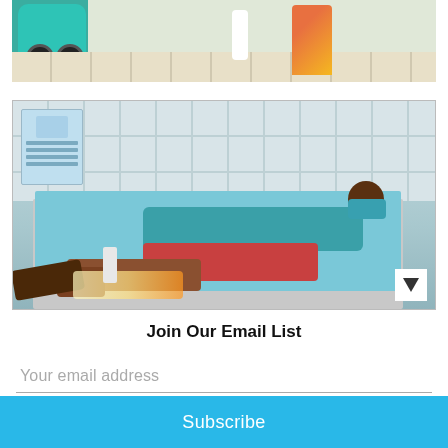[Figure (photo): Top portion of a photo showing a tiled floor with a green scooter/tricycle on the left and people's legs in colorful clothing visible]
[Figure (photo): Medical scene showing a patient lying on an examination table covered with a blue sheet, wearing a face mask and colorful patterned pants, while a healthcare worker examines the patient's foot/leg with a light or device. Medical posters are visible on the tiled wall in the background.]
Join Our Email List
Your email address
Subscribe